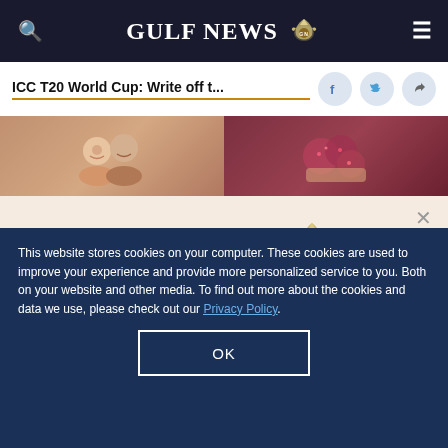GULF NEWS
ICC T20 World Cup: Write off t...
[Figure (photo): Two side-by-side thumbnail images: left shows two people smiling, right shows red berry fruits held in hand]
GULF NEWS
A special offer for our readers
Get the two years All-Access subscription now
This website stores cookies on your computer. These cookies are used to improve your experience and provide more personalized service to you. Both on your website and other media. To find out more about the cookies and data we use, please check out our Privacy Policy.
OK